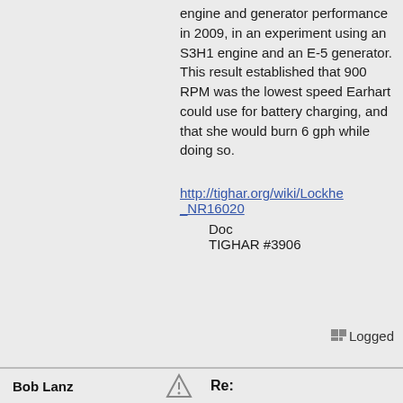engine and generator performance in 2009, in an experiment using an S3H1 engine and an E-5 generator. This result established that 900 RPM was the lowest speed Earhart could use for battery charging, and that she would burn 6 gph while doing so.
http://tighar.org/wiki/Lockhe_NR16020
Doc
TIGHAR #3906
Logged
Bob Lanz
Re: